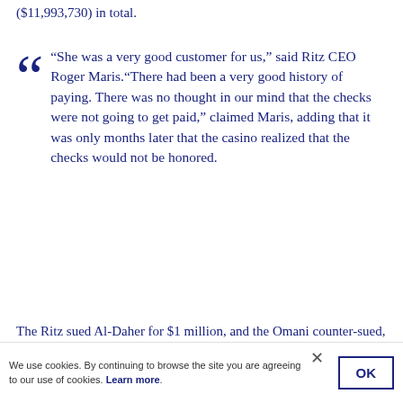($11,993,730) in total.
“She was a very good customer for us,” said Ritz CEO Roger Maris.“There had been a very good history of paying. There was no thought in our mind that the checks were not going to get paid,” claimed Maris, adding that it was only months later that the casino realized that the checks would not be honored.
The Ritz sued Al-Daher for $1 million, and the Omani counter-sued, claiming that the casino had allowed her to gamble on credit, which is illegal.
We use cookies. By continuing to browse the site you are agreeing to our use of cookies. Learn more.